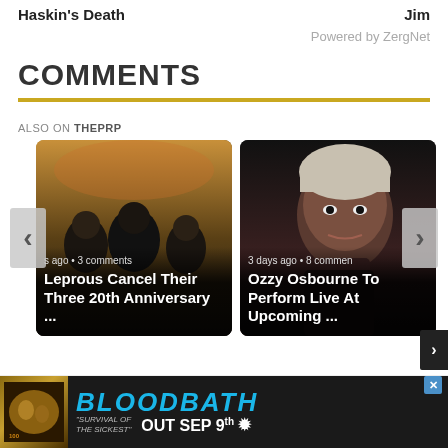Haskin's Death
Jim
Powered by ZergNet
COMMENTS
ALSO ON THEPRP
[Figure (photo): Card showing band members for Leprous article, with caption: s ago • 3 comments — Leprous Cancel Their Three 20th Anniversary ...]
[Figure (photo): Card showing Ozzy Osbourne for article, with caption: 3 days ago • 8 comments — Ozzy Osbourne To Perform Live At Upcoming ...]
[Figure (other): Ad banner: BLOODBATH — OUT SEP 9th, with album art thumbnail and text 'SURVIVAL OF THE SICKEST']